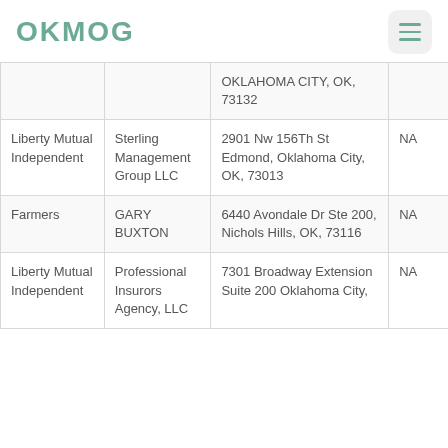OKMOG
|  |  |  |  |
| --- | --- | --- | --- |
|  |  | OKLAHOMA CITY, OK, 73132 |  |
| Liberty Mutual Independent | Sterling Management Group LLC | 2901 Nw 156Th St Edmond, Oklahoma City, OK, 73013 | NA |
| Farmers | GARY BUXTON | 6440 Avondale Dr Ste 200, Nichols Hills, OK, 73116 | NA |
| Liberty Mutual Independent | Professional Insurors Agency, LLC | 7301 Broadway Extension Suite 200 Oklahoma City, | NA |